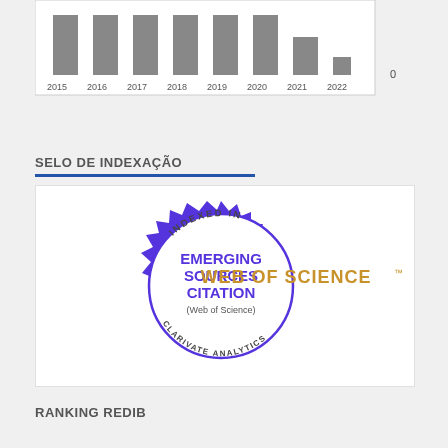[Figure (bar-chart): Publications by year (partial)]
SELO DE INDEXAÇÃO
[Figure (illustration): Web of Science Emerging Sources Citation Index badge - a purple seal/stamp circle reading INDEXED IN EMERGING SOURCES CITATION (Web of Science) CLARIVATE ANALYTICS, alongside WEB OF SCIENCE text in orange/gold.]
RANKING REDIB